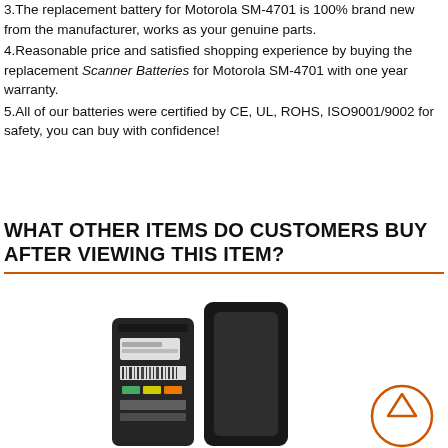3.The replacement battery for Motorola SM-4701 is 100% brand new from the manufacturer, works as your genuine parts.
4.Reasonable price and satisfied shopping experience by buying the replacement Scanner Batteries for Motorola SM-4701 with one year warranty.
5.All of our batteries were certified by CE, UL, ROHS, ISO9001/9002 for safety, you can buy with confidence!
WHAT OTHER ITEMS DO CUSTOMERS BUY AFTER VIEWING THIS ITEM?
[Figure (photo): Photo showing two Motorola SM-4701 replacement batteries — one showing the back label side and one showing the front, alongside a circular arrow-up navigation button.]